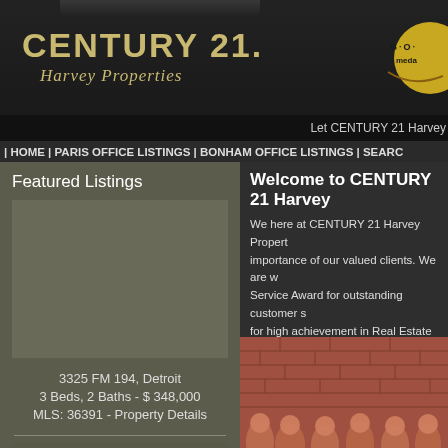CENTURY 21. Harvey Properties
Let CENTURY 21 Harvey
| HOME | PARIS OFFICE LISTINGS | BONHAM OFFICE LISTINGS | SEARC
Featured Listings
3325 FM 194, Detroit
3 Beds, 2 Baths - $ 348,000
MLS: 36391 - Property Details
Welcome to CENTURY 21 Harvey
We here at CENTURY 21 Harvey Propert importance of our valued clients. We are Service Award for outstanding customer s for high achievement in Real Estate Sales please let one of our award-winning agen Rene
[Figure (photo): Group photo of team members against a brick wall background]